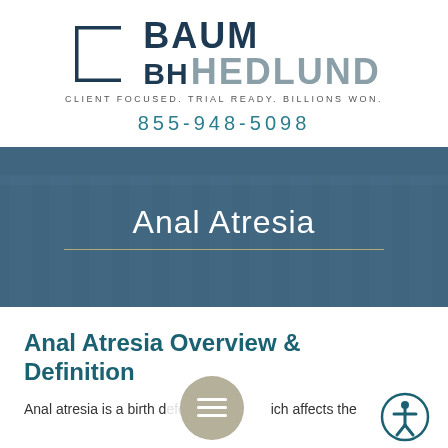[Figure (logo): Baum Hedlund law firm logo with bracket symbol, firm name in two colors, and tagline CLIENT FOCUSED. TRIAL READY. BILLIONS WON.]
855-948-5098
[Figure (photo): Hero banner with blurred courthouse columns image overlaid with dark blue tint, centered text 'Anal Atresia' and decorative divider line]
Anal Atresia
Anal Atresia Overview & Definition
Anal atresia is a birth d[efect] [wh]ich affects the